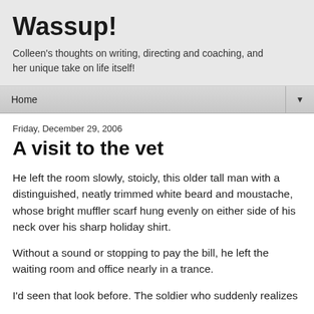Wassup!
Colleen's thoughts on writing, directing and coaching, and her unique take on life itself!
Home ▼
Friday, December 29, 2006
A visit to the vet
He left the room slowly, stoicly, this older tall man with a distinguished, neatly trimmed white beard and moustache, whose bright muffler scarf hung evenly on either side of his neck over his sharp holiday shirt.
Without a sound or stopping to pay the bill, he left the waiting room and office nearly in a trance.
I'd seen that look before. The soldier who suddenly realizes